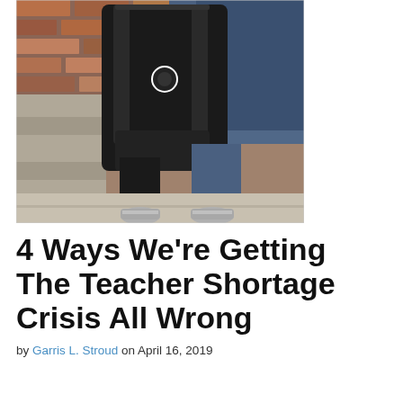[Figure (photo): A person (lower body visible, wearing jeans) standing on a sidewalk next to a brick wall, holding a black backpack. Another person's legs and sneakers are visible beside them.]
4 Ways We're Getting The Teacher Shortage Crisis All Wrong
by Garris L. Stroud on April 16, 2019